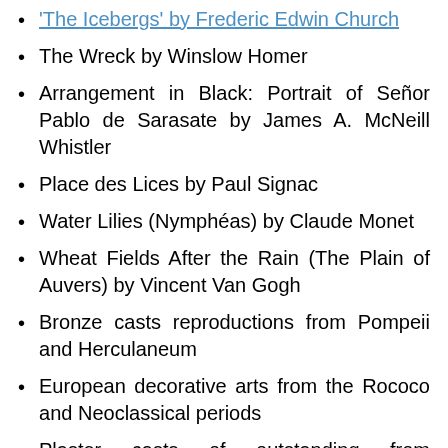'The Icebergs' by Frederic Edwin Church
The Wreck by Winslow Homer
Arrangement in Black: Portrait of Señor Pablo de Sarasate by James A. McNeill Whistler
Place des Lices by Paul Signac
Water Lilies (Nymphéas) by Claude Monet
Wheat Fields After the Rain (The Plain of Auvers) by Vincent Van Gogh
Bronze casts reproductions from Pompeii and Herculaneum
European decorative arts from the Rococo and Neoclassical periods
Plaster casts of outstanding from Romanesque, Gothic, and Renaissance European works